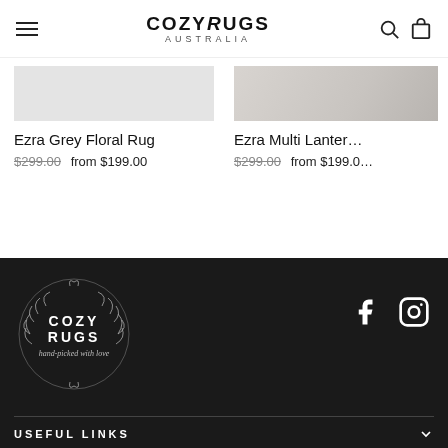COZYRUGS AUSTRALIA
Ezra Grey Floral Rug — $299.00 from $199.00
Ezra Multi Lantern — $299.00 from $199.00
[Figure (logo): Cozy Rugs Australia logo with wreath and tagline 'hand-picked with love']
[Figure (other): Facebook and Instagram social media icons]
USEFUL LINKS